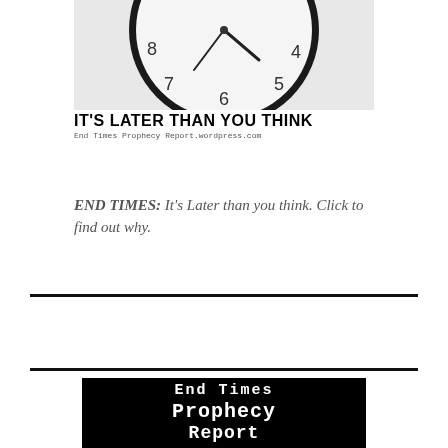[Figure (photo): Black alarm clock showing numbers 4, 5, 6, 7, 8 on a white face, photographed from slightly below center, cropped to show upper portion. Below the clock image is bold text 'IT'S LATER THAN YOU THINK' and monospace URL 'End Times Prophecy Report.wordpress.com']
END TIMES: It's Later than you think. Click to find out why.
[Figure (logo): Black rectangular banner with white Courier/monospace text reading 'End Times Prophecy Report' with dashed line separator and 'Jeremiah J. Jameson' below]